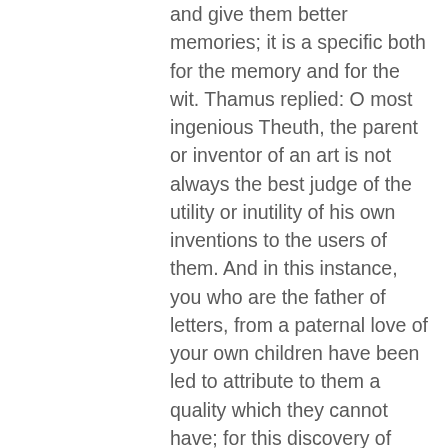and give them better memories; it is a specific both for the memory and for the wit. Thamus replied: O most ingenious Theuth, the parent or inventor of an art is not always the best judge of the utility or inutility of his own inventions to the users of them. And in this instance, you who are the father of letters, from a paternal love of your own children have been led to attribute to them a quality which they cannot have; for this discovery of yours will create forgetfulness in the learners' souls, because they will not use their memories; they will trust to the external written characters and not remember of themselves. The specific which you have discovered is an aid not to memory, but to reminiscence, and you give your disciples not truth, but only the semblance of truth; they will be hearers of many things and will have learned nothing; they will appear to be omniscient and will generally know nothing; they